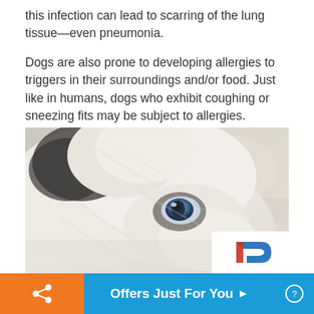this infection can lead to scarring of the lung tissue—even pneumonia.
Dogs are also prone to developing allergies to triggers in their surroundings and/or food. Just like in humans, dogs who exhibit coughing or sneezing fits may be subject to allergies.
[Figure (photo): Close-up photograph of a white/light-colored dog (appears to be a Husky or similar breed) with blue eyes, viewed from above and slightly to the side. The dog's face fills most of the frame showing fur, one blue eye visible.]